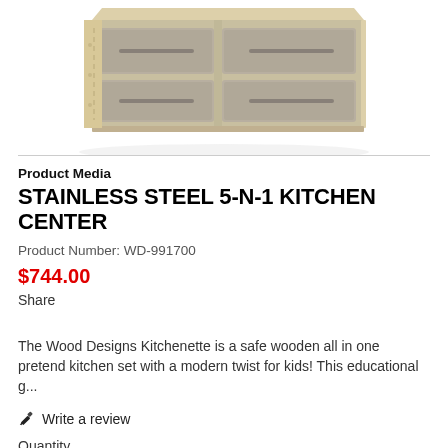[Figure (photo): Kitchen play set product photo showing a wooden kitchen unit with taupe/grey drawer fronts and natural wood sides, viewed from a slight angle above]
Product Media
STAINLESS STEEL 5-N-1 KITCHEN CENTER
Product Number: WD-991700
$744.00
Share
The Wood Designs Kitchenette is a safe wooden all in one pretend kitchen set with a modern twist for kids! This educational g...
Write a review
Quantity